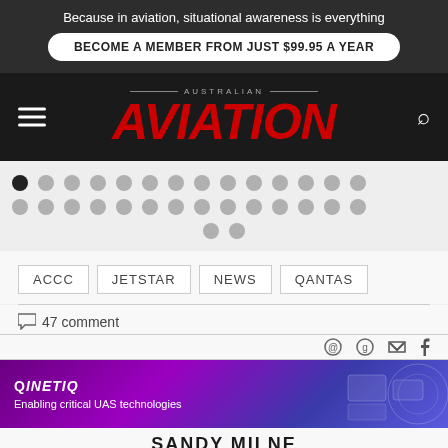Because in aviation, situational awareness is everything
BECOME A MEMBER FROM JUST $99.95 A YEAR
AUSTRALIAN AVIATION
[Figure (infographic): Pagination dots: 2 rows of 14 dots each plus 2 dots in a third row, first dot is black/active, rest grey]
ACCC
JETSTAR
NEWS
QANTAS
47 comment
[Figure (photo): QinetiQ advertisement banner: purple/blue gradient background with text 'QinetiQ - Enabling critical UAS technologies' and drone imagery on the right]
SANDY MILNE